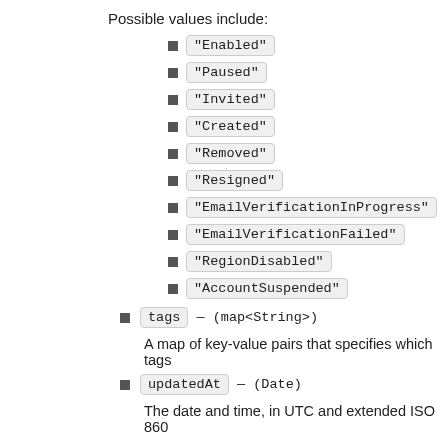Possible values include:
"Enabled"
"Paused"
"Invited"
"Created"
"Removed"
"Resigned"
"EmailVerificationInProgress"
"EmailVerificationFailed"
"RegionDisabled"
"AccountSuspended"
tags — (map<String>)
A map of key-value pairs that specifies which tags
updatedAt — (Date)
The date and time, in UTC and extended ISO 860